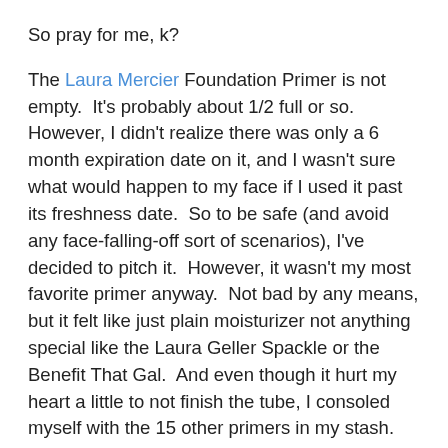So pray for me, k?
The Laura Mercier Foundation Primer is not empty.  It's probably about 1/2 full or so.  However, I didn't realize there was only a 6 month expiration date on it, and I wasn't sure what would happen to my face if I used it past its freshness date.  So to be safe (and avoid any face-falling-off sort of scenarios), I've decided to pitch it.  However, it wasn't my most favorite primer anyway.  Not bad by any means, but it felt like just plain moisturizer not anything special like the Laura Geller Spackle or the Benefit That Gal.  And even though it hurt my heart a little to not finish the tube, I consoled myself with the 15 other primers in my stash.  Don't worry – I'll be okay.
If you suffer from enormously large pores like me, then the L'Oreal Youth Code Texture Perfector Pore Vanisher will